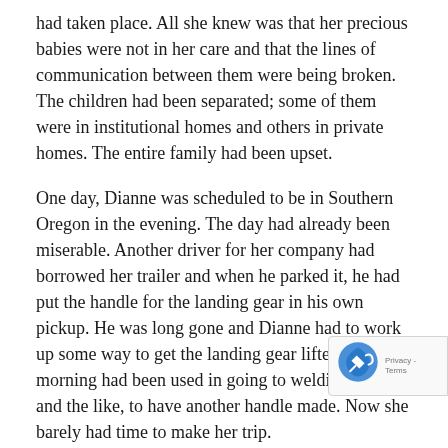had taken place. All she knew was that her precious babies were not in her care and that the lines of communication between them were being broken. The children had been separated; some of them were in institutional homes and others in private homes. The entire family had been upset.
One day, Dianne was scheduled to be in Southern Oregon in the evening. The day had already been miserable. Another driver for her company had borrowed her trailer and when he parked it, he had put the handle for the landing gear in his own pickup. He was long gone and Dianne had to work up some way to get the landing gear lifted. The morning had been used in going to welding shops and the like, to have another handle made. Now she barely had time to make her trip.
She was finally ready. The pickup was under the tr... and she was raising the landing gear when a car d...